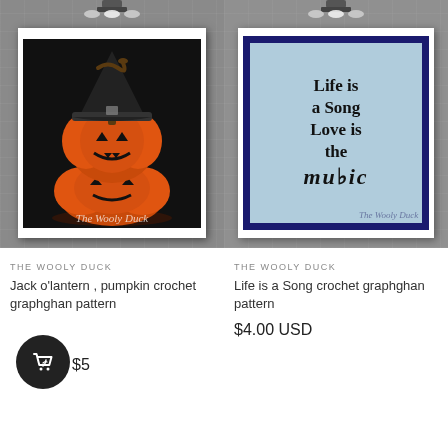[Figure (photo): Jack o'lantern pumpkin with witch hat on black background, displayed in a white frame on a grey brick wall, with 'The Wooly Duck' watermark]
[Figure (illustration): Blue art print with navy border reading 'Life is a Song Love is the music' in decorative font, in a white frame on a grey brick wall, with 'The Wooly Duck' watermark]
THE WOOLY DUCK
Jack o'lantern , pumpkin crochet graphghan pattern
THE WOOLY DUCK
Life is a Song crochet graphghan pattern
$4.00 USD